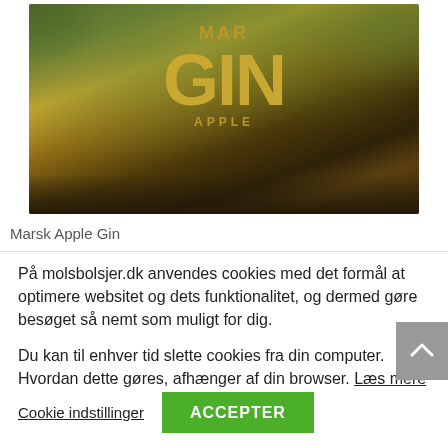[Figure (photo): A close-up photo of a dark amber/brown glass bottle of Marsk Apple Gin with yellow-green label text reading 'MARSK GIN APPLE', placed on a dark wooden surface with green foliage in the background.]
Marsk Apple Gin
På molsbolsjer.dk anvendes cookies med det formål at optimere websitet og dets funktionalitet, og dermed gøre besøget så nemt som muligt for dig.
Du kan til enhver tid slette cookies fra din computer. Hvordan dette gøres, afhænger af din browser. Læs mere
Cookie indstillinger
ACCEPTER